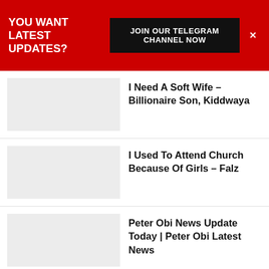YOU WANT LATEST UPDATES? JOIN OUR TELEGRAM CHANNEL NOW
I Need A Soft Wife – Billionaire Son, Kiddwaya
I Used To Attend Church Because Of Girls – Falz
Peter Obi News Update Today | Peter Obi Latest News
'Obidients' Are Better Behaved Than Tinubu, Atiku's Supporters – Charly Boy To Peter Obi
Using Religion To Manipulate Politics Is Stoking Fire – Bishop Kukah Warns